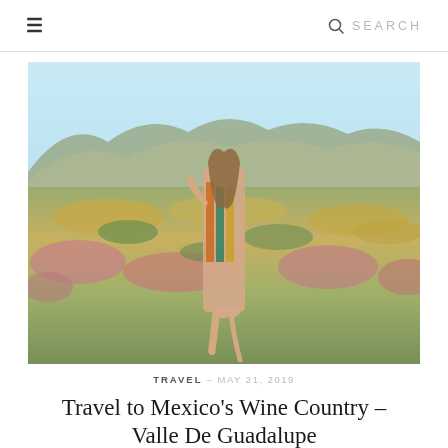≡   🔍 SEARCH
[Figure (photo): A woman in a colorful striped romper posing in a flower-covered meadow with rolling hills and blue sky in the background, Valle de Guadalupe, Mexico]
TRAVEL – MAY 21, 2019
Travel to Mexico's Wine Country – Valle De Guadalupe